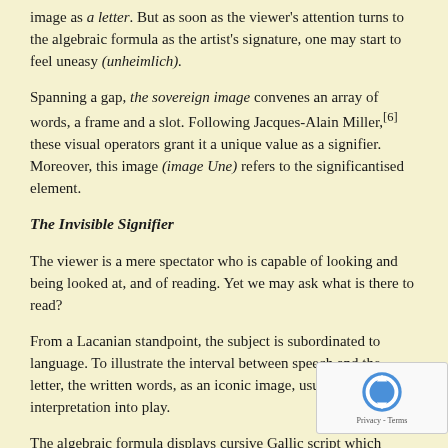image as a letter. But as soon as the viewer's attention turns to the algebraic formula as the artist's signature, one may start to feel uneasy (unheimlich).
Spanning a gap, the sovereign image convenes an array of words, a frame and a slot. Following Jacques-Alain Miller,[6] these visual operators grant it a unique value as a signifier. Moreover, this image (image Une) refers to the significantised element.
The Invisible Signifier
The viewer is a mere spectator who is capable of looking and being looked at, and of reading. Yet we may ask what is there to read?
From a Lacanian standpoint, the subject is subordinated to language. To illustrate the interval between speech and the letter, the written words, as an iconic image, usually bring one's interpretation into play.
The algebraic formula displays cursive Gallic script which points out a key tension in the master's discourse for silencing the object a, here the subject.[7] As Lacan says, the number as the letter excludes the signified, pretending to fill the gap between meaning and the re… "The Triumph of Objects",[8] Marie-Hélène Brousse highlights th…